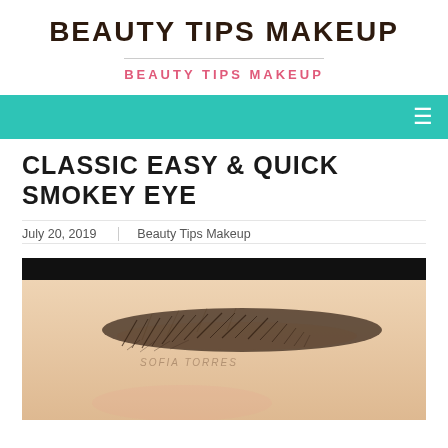BEAUTY TIPS MAKEUP
BEAUTY TIPS MAKEUP
CLASSIC EASY & QUICK SMOKEY EYE
July 20, 2019   Beauty Tips Makeup
[Figure (photo): Close-up photo of a well-groomed eyebrow on a fair-skinned face, partially cropped, with 'SOFIA TORRES' watermark text visible on the image. Black strip at the top.]